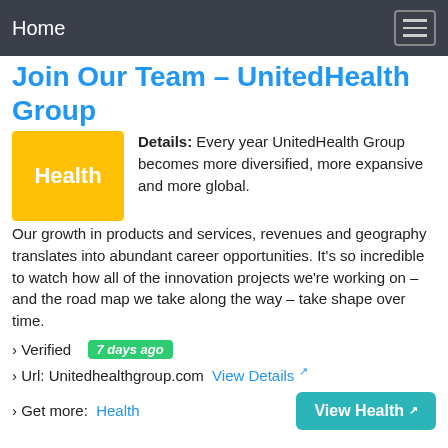Home
Join Our Team – UnitedHealth Group
[Figure (illustration): Yellow badge with the word 'Health' in white text]
Details: Every year UnitedHealth Group becomes more diversified, more expansive and more global. Our growth in products and services, revenues and geography translates into abundant career opportunities. It's so incredible to watch how all of the innovation projects we're working on – and the road map we take along the way – take shape over time.
› Verified  7 days ago
› Url: Unitedhealthgroup.com  View Details ↗
› Get more:  Health     View Health ↗